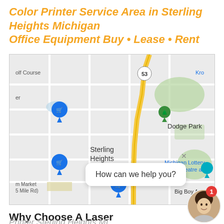Color Printer Service Area in Sterling Heights Michigan
Office Equipment Buy • Lease • Rent
[Figure (map): Google Maps screenshot showing Sterling Heights, Michigan area. Notable landmarks include Dodge Park (green pin), Michigan Lottery Amphitheatre, Big Boy Area, and shopping cart pins. Route 53 highway is visible as a yellow road running through the center.]
Why Choose A Laser Printer From... Advantages • Color Printer Sterling Heights MI
[Figure (screenshot): Live chat widget overlay showing a female avatar with a red notification badge showing '1' and a speech bubble saying 'How can we help you?' with an X close button.]